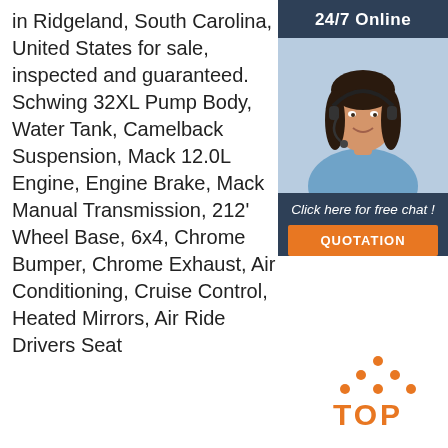in Ridgeland, South Carolina, United States for sale, inspected and guaranteed. Schwing 32XL Pump Body, Water Tank, Camelback Suspension, Mack 12.0L Engine, Engine Brake, Mack Manual Transmission, 212' Wheel Base, 6x4, Chrome Bumper, Chrome Exhaust, Air Conditioning, Cruise Control, Heated Mirrors, Air Ride Drivers Seat
[Figure (infographic): 24/7 Online chat widget with a woman wearing a headset, dark blue background, orange QUOTATION button and 'Click here for free chat!' text]
[Figure (logo): TOP logo with orange dots arranged in a triangle shape above the word TOP in orange]